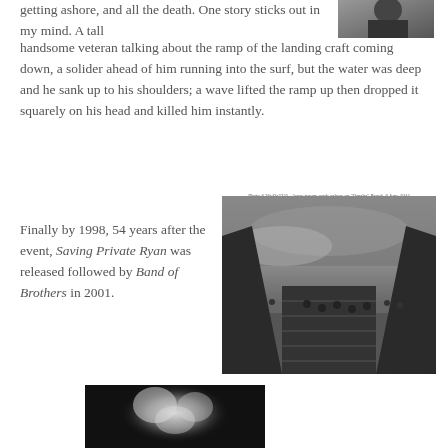getting ashore, and all the death. One story sticks out in my mind. A tall handsome veteran talking about the ramp of the landing craft coming down, a solider ahead of him running into the surf, but the water was deep and he sank up to his shoulders; a wave lifted the ramp up then dropped it squarely on his head and killed him instantly.
[Figure (photo): Black and white portrait photo, partially visible at top right]
Photo # 26-43-2345   Army troops wade ashore on "Omaha" Beach, 6 June 1944
[Figure (photo): Famous D-Day photograph showing troops wading ashore from a landing craft at Omaha Beach, 6 June 1944. Black and white historical war photograph.]
Finally by 1998, 54 years after the event, Saving Private Ryan was released followed by Band of Brothers in 2001.
[Figure (photo): Black and white photo, flowers or blurred subject on dark background]